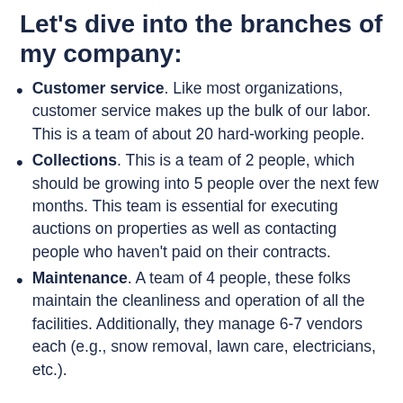Let's dive into the branches of my company:
Customer service. Like most organizations, customer service makes up the bulk of our labor. This is a team of about 20 hard-working people.
Collections. This is a team of 2 people, which should be growing into 5 people over the next few months. This team is essential for executing auctions on properties as well as contacting people who haven't paid on their contracts.
Maintenance. A team of 4 people, these folks maintain the cleanliness and operation of all the facilities. Additionally, they manage 6-7 vendors each (e.g., snow removal, lawn care, electricians, etc.).